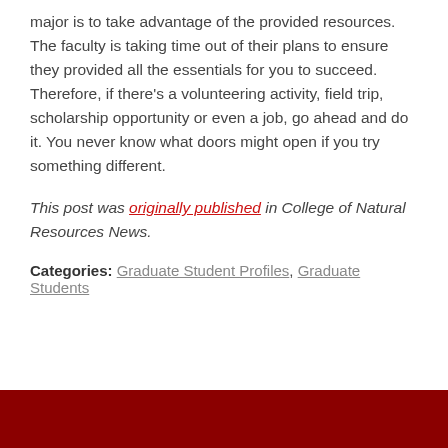major is to take advantage of the provided resources. The faculty is taking time out of their plans to ensure they provided all the essentials for you to succeed. Therefore, if there's a volunteering activity, field trip, scholarship opportunity or even a job, go ahead and do it. You never know what doors might open if you try something different.
This post was originally published in College of Natural Resources News.
Categories: Graduate Student Profiles, Graduate Students